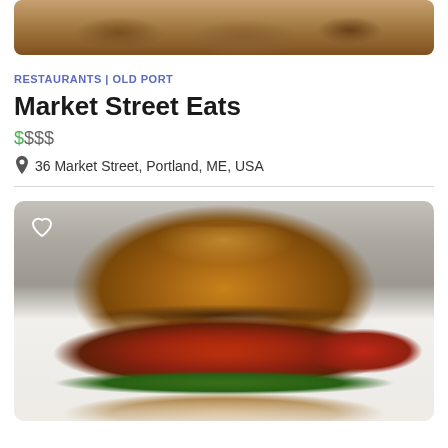[Figure (photo): Top portion of a food item (burger or sandwich) visible at the top of the page, cropped]
RESTAURANTS | OLD PORT
Market Street Eats
$$$$
36 Market Street, Portland, ME, USA
[Figure (photo): A large gourmet burger/sandwich with a golden brioche bun on top, crispy fried chicken patty coated in red sauce, white creamy dressing drizzled over, green lettuce, red tomatoes/peppers, on a bottom bun. A heart/favorite icon is visible in the top-left corner of the image.]